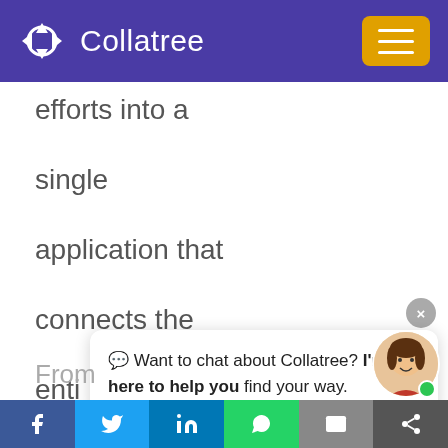[Figure (screenshot): Collatree website header with purple background, logo icon (diamond/arrow shape), 'Collatree' text in white, and a golden/amber hamburger menu button on the right]
efforts into a single application that connects the enti… acc… you… convenience.
[Figure (screenshot): Chat popup widget with close button (X), message text: '💬 Want to chat about Collatree? I'm here to help you find your way.' with a female avatar photo and green online dot]
From
[Figure (screenshot): Bottom social sharing bar with icons for Facebook, Twitter, LinkedIn, WhatsApp, Email, and a share option]